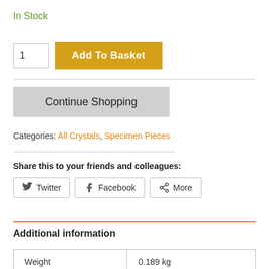In Stock
[Figure (screenshot): Quantity input box showing '1' and an 'Add To Basket' gold button]
[Figure (screenshot): Continue Shopping grey button]
Categories: All Crystals, Specimen Pieces
Share this to your friends and colleagues:
[Figure (screenshot): Social share buttons: Twitter, Facebook, More]
Additional information
| Weight | 0.189 kg |
| --- | --- |